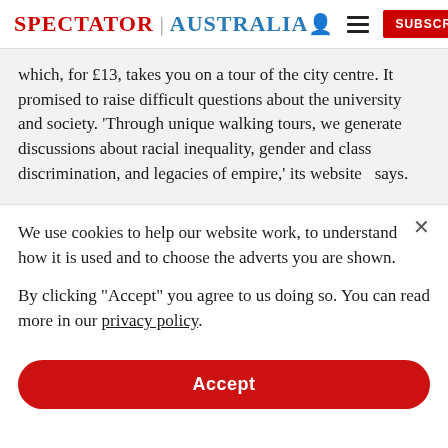SPECTATOR | AUSTRALIA
which, for £13, takes you on a tour of the city centre. It promised to raise difficult questions about the university and society. 'Through unique walking tours, we generate discussions about racial inequality, gender and class discrimination, and legacies of empire,' its website  says.
We use cookies to help our website work, to understand how it is used and to choose the adverts you are shown.
By clicking "Accept" you agree to us doing so. You can read more in our privacy policy.